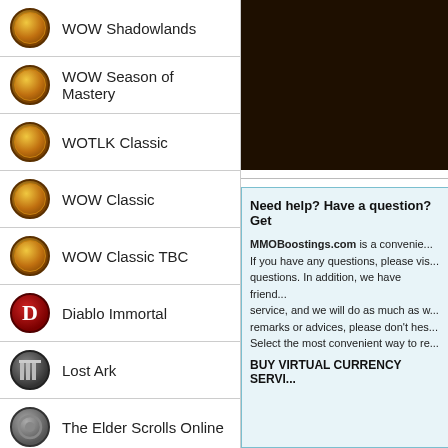[Figure (screenshot): Dark brown/black banner area at top right]
WOW Shadowlands
WOW Season of Mastery
WOTLK Classic
WOW Classic
WOW Classic TBC
Diablo Immortal
Lost Ark
The Elder Scrolls Online
Final Fantasy XIV
Aion Classic
Need help? Have a question? Get
MMOBoostings.com is a convenie... If you have any questions, please vis... questions. In addition, we have friend... service, and we will do as much as w... remarks or advices, please don't hes... Select the most convenient way to re...
BUY VIRTUAL CURRENCY SERVI...